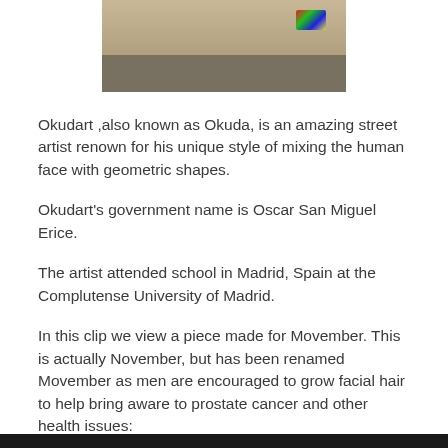[Figure (photo): Street scene photograph showing colorful elements, partially cropped at top]
Okudart ,also known as Okuda, is an amazing street artist renown for his unique style of mixing the human face with geometric shapes.
Okudart's government name is Oscar San Miguel Erice.
The artist attended school in Madrid, Spain at the Complutense University of Madrid.
In this clip we view a piece made for Movember. This is actually November, but has been renamed Movember as men are encouraged to grow facial hair to help bring aware to prostate cancer and other health issues:
[Figure (photo): Dark/black bar at bottom of page, beginning of another image]